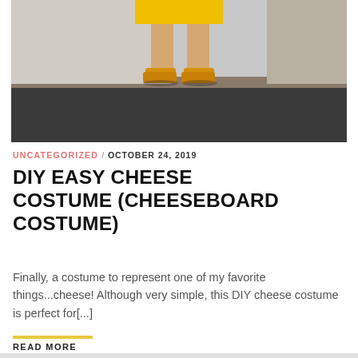[Figure (photo): Partial view of a person wearing a yellow outfit and yellow shoes standing on a dark pavement with a concrete wall/ledge in the background.]
UNCATEGORIZED / OCTOBER 24, 2019
DIY EASY CHEESE COSTUME (CHEESEBOARD COSTUME)
Finally, a costume to represent one of my favorite things...cheese! Although very simple, this DIY cheese costume is perfect for[...]
READ MORE